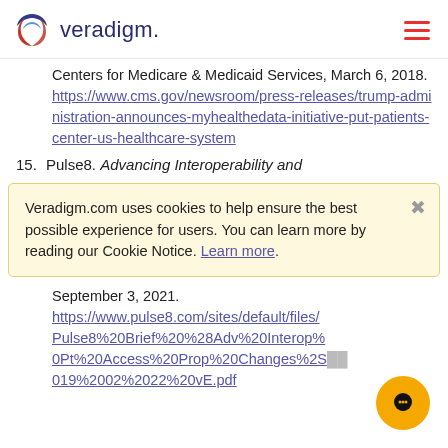veradigm.
Centers for Medicare & Medicaid Services, March 6, 2018. https://www.cms.gov/newsroom/press-releases/trump-administration-announces-myhealthedata-initiative-put-patients-center-us-healthcare-system
15. Pulse8. Advancing Interoperability and
Veradigm.com uses cookies to help ensure the best possible experience for users. You can learn more by reading our Cookie Notice. Learn more.
September 3, 2021. https://www.pulse8.com/sites/default/files/Pulse8%20Brief%20%28Adv%20Interop%20Pt%20Access%20Prop%20Changes%2S 019%2002%2022%20vE.pdf